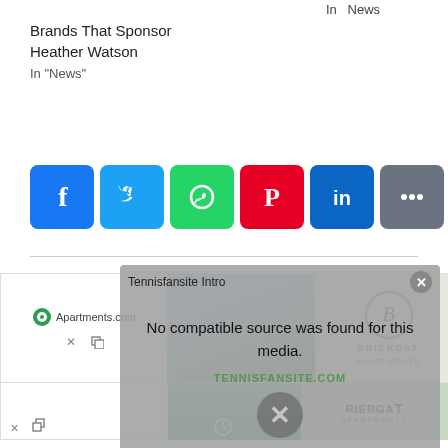In  News
Brands That Sponsor Heather Watson
In "News"
[Figure (infographic): Social sharing icons: Facebook (blue), Twitter (blue), WhatsApp (green), Pinterest (red), LinkedIn (blue), More (gray)]
YOU MIGHT ALSO LIKE
Leylah Fernandez Wearing On's The Roger Pro Shoes
[Figure (screenshot): Video overlay popup titled 'Tennisfansite Intro' with message 'No compatible source was found for this media.' and a watermark 'TENNISFANSITE.COM' with an X dismiss button]
[Figure (photo): Advertisement banner for Apartments.com featuring Briergat Apartments with building photos]